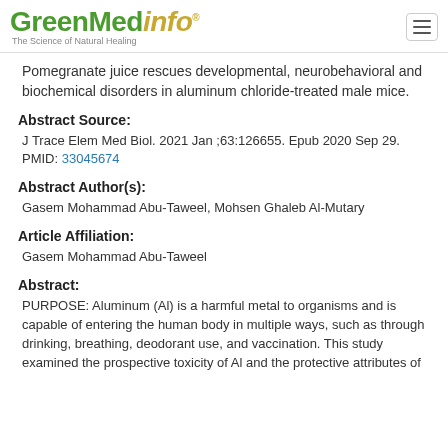GreenMedinfo® — The Science of Natural Healing
Pomegranate juice rescues developmental, neurobehavioral and biochemical disorders in aluminum chloride-treated male mice.
Abstract Source:
J Trace Elem Med Biol. 2021 Jan ;63:126655. Epub 2020 Sep 29. PMID: 33045674
Abstract Author(s):
Gasem Mohammad Abu-Taweel, Mohsen Ghaleb Al-Mutary
Article Affiliation:
Gasem Mohammad Abu-Taweel
Abstract:
PURPOSE: Aluminum (Al) is a harmful metal to organisms and is capable of entering the human body in multiple ways, such as through drinking, breathing, deodorant use, and vaccination. This study examined the prospective toxicity of Al and the protective attributes of